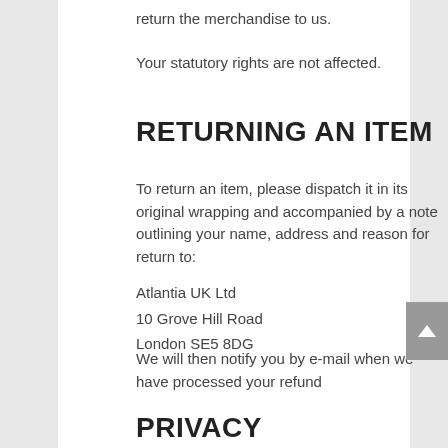return the merchandise to us.
Your statutory rights are not affected.
RETURNING AN ITEM
To return an item, please dispatch it in its original wrapping and accompanied by a note outlining your name, address and reason for return to:
Atlantia UK Ltd
10 Grove Hill Road
London SE5 8DG
We will then notify you by e-mail when we have processed your refund
PRIVACY